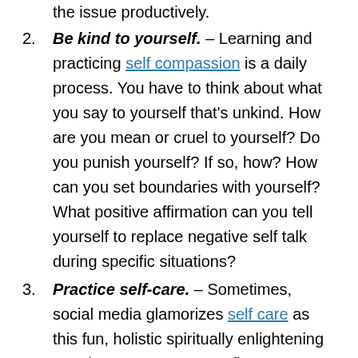the issue productively.
Be kind to yourself. – Learning and practicing self compassion is a daily process. You have to think about what you say to yourself that's unkind. How are you mean or cruel to yourself? Do you punish yourself? If so, how? How can you set boundaries with yourself? What positive affirmation can you tell yourself to replace negative self talk during specific situations?
Practice self-care. – Sometimes, social media glamorizes self care as this fun, holistic spiritually enlightening practice. But you want to figure out what it looks like for you. It could be engaging in a hobby, journaling, yoga, meditation, etc. In addition